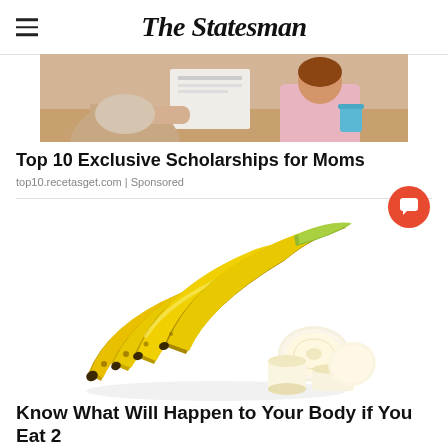The Statesman
[Figure (photo): Two people at a table with documents, one holding a blue cup - scholarship article image]
Top 10 Exclusive Scholarships for Moms
top10.recetasget.com | Sponsored
[Figure (photo): A bunch of yellow bananas with sliced banana pieces on a white background]
Know What Will Happen to Your Body if You Eat 2